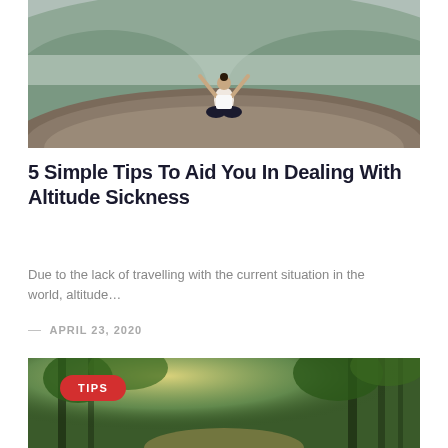[Figure (photo): Person sitting in yoga/meditation pose with arms raised on a rocky hilltop, misty green hills in background]
5 Simple Tips To Aid You In Dealing With Altitude Sickness
Due to the lack of travelling with the current situation in the world, altitude…
— APRIL 23, 2020
[Figure (photo): Forest trail scene with bright sunlight filtering through green trees, red TIPS badge overlay]